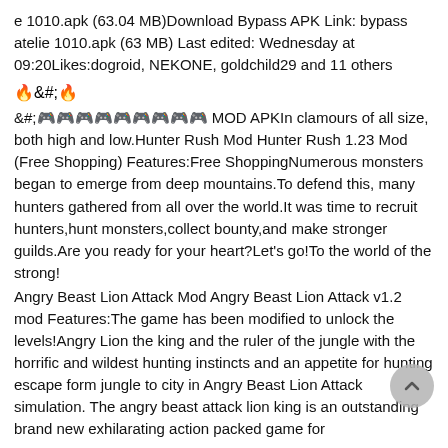e 1010.apk (63.04 MB)Download Bypass APK Link: bypass atelie 1010.apk (63 MB) Last edited: Wednesday at 09:20Likes:dogroid, NEKONE, goldchild29 and 11 others
🔥&#;🔥
&#;🎮🎮🎮🎮🎮🎮🎮🎮🎮 MOD APKIn clamours of all size, both high and low.Hunter Rush Mod Hunter Rush 1.23 Mod (Free Shopping) Features:Free ShoppingNumerous monsters began to emerge from deep mountains.To defend this, many hunters gathered from all over the world.It was time to recruit hunters,hunt monsters,collect bounty,and make stronger guilds.Are you ready for your heart?Let's go!To the world of the strong!
Angry Beast Lion Attack Mod Angry Beast Lion Attack v1.2 mod Features:The game has been modified to unlock the levels!Angry Lion the king and the ruler of the jungle with the horrific and wildest hunting instincts and an appetite for hunting escape form jungle to city in Angry Beast Lion Attack simulation. The angry beast attack lion king is an outstanding brand new exhilarating action packed game for